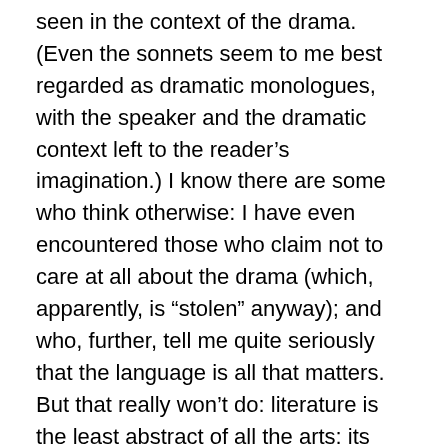seen in the context of the drama. (Even the sonnets seem to me best regarded as dramatic monologues, with the speaker and the dramatic context left to the reader's imagination.) I know there are some who think otherwise: I have even encountered those who claim not to care at all about the drama (which, apparently, is “stolen” anyway); and who, further, tell me quite seriously that the language is all that matters. But that really won’t do: literature is the least abstract of all the arts: its basic building blocks are words, and each word has a meaning (and often more than just a single meaning) beyond itself – that is, it has a significance beyond how it sounds, and how it looks when written. Language without context is nothing. And in Shakespeare, the context is dramatic. Those who look merely for “the language” may find it hard to account for the effects produced in King Lear by such lines as “World, world, O world!”, or “Never, never, never, never, never” –